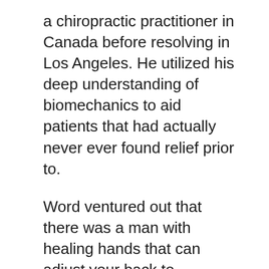a chiropractic practitioner in Canada before resolving in Los Angeles. He utilized his deep understanding of biomechanics to aid patients that had actually never ever found relief prior to.
Word ventured out that there was a man with healing hands that can adjust your back to essentially open your body's true possibility. He was quickly uncovered by a who's that of Hollywood actors, specialist athletes as well as CEOs (like Cindy Crawford, Elon Musk, Tony Robbins, Lewis Hamilton– to name a few). He additionally ended up being the group chiropractic specialist for the L.A. Clippers, treating famous professional athletes like Shaq and also Blake Griffin.